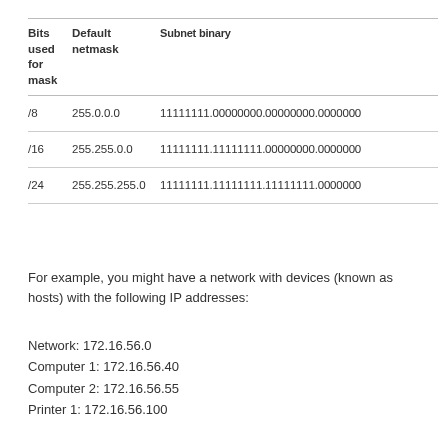| Bits used for mask | Default netmask | Subnet binary |
| --- | --- | --- |
| /8 | 255.0.0.0 | 11111111.00000000.00000000.00000000 |
| /16 | 255.255.0.0 | 11111111.11111111.00000000.00000000 |
| /24 | 255.255.255.0 | 11111111.11111111.11111111.00000000 |
For example, you might have a network with devices (known as hosts) with the following IP addresses:
Network: 172.16.56.0
Computer 1: 172.16.56.40
Computer 2: 172.16.56.55
Printer 1: 172.16.56.100